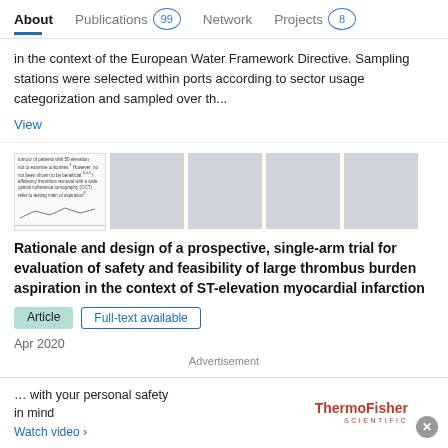About  Publications 99  Network  Projects 8
in the context of the European Water Framework Directive. Sampling stations were selected within ports according to sector usage categorization and sampled over th...
View
[Figure (screenshot): Thumbnails of document pages, first shows text with a chart, remaining four are blank grey placeholders]
Rationale and design of a prospective, single-arm trial for evaluation of safety and feasibility of large thrombus burden aspiration in the context of ST-elevation myocardial infarction
Article   Full-text available
Apr 2020
Advertisement
… with your personal safety in mind
Watch video ›
[ThermoFisher Scientific logo]